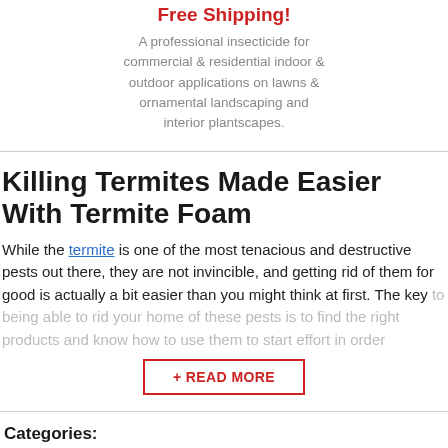Free Shipping!
A professional insecticide for commercial & residential indoor & outdoor applications on lawns & ornamental landscaping and interior plantscapes.
Killing Termites Made Easier With Termite Foam
While the termite is one of the most tenacious and destructive pests out there, they are not invincible, and getting rid of them for good is actually a bit easier than you might think at first. The key to being able to rid your home of these pests is to find the right products and know how to use them to start effort in order
+ READ MORE
Categories:
Termites